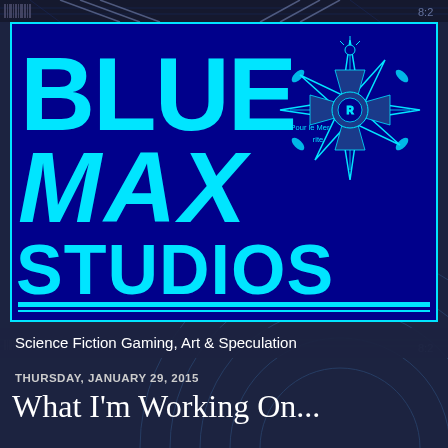[Figure (logo): Blue Max Studios logo: dark blue rectangular box with cyan border containing large cyan bold text 'BLUE' on top line, 'MAX' in italic below, 'STUDIOS' on third line, with cyan underline bars at bottom. A Blue Max medal star emblem in top right corner with text 'Pour le Merite'. Background has tech/circuit pattern.]
Science Fiction Gaming, Art & Speculation
THURSDAY, JANUARY 29, 2015
What I'm Working On...